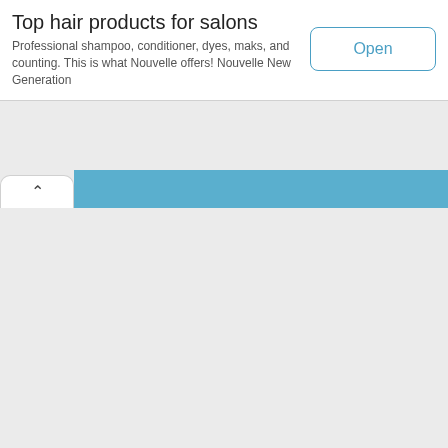Top hair products for salons
Professional shampoo, conditioner, dyes, maks, and counting. This is what Nouvelle offers! Nouvelle New Generation
[Figure (screenshot): A mobile app UI showing an advertisement banner with title 'Top hair products for salons', description text, an 'Open' button, a tab bar with a chevron/collapse tab and a blue active tab strip, and a light grey content area below.]